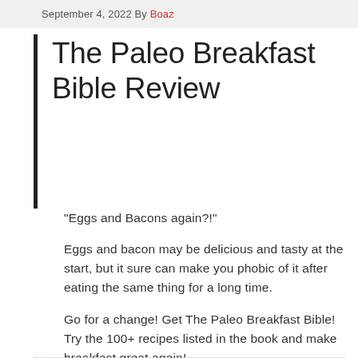September 4, 2022 By Boaz
The Paleo Breakfast Bible Review
“Eggs and Bacons again?!”
Eggs and bacon may be delicious and tasty at the start, but it sure can make you phobic of it after eating the same thing for a long time.
Go for a change! Get The Paleo Breakfast Bible! Try the 100+ recipes listed in the book and make breakfast great again!